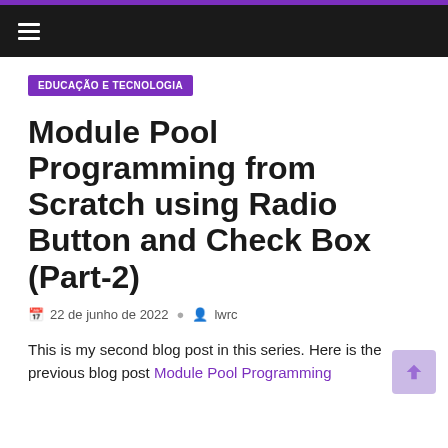EDUCAÇÃO E TECNOLOGIA
Module Pool Programming from Scratch using Radio Button and Check Box (Part-2)
22 de junho de 2022  lwrc
This is my second blog post in this series. Here is the previous blog post Module Pool Programming